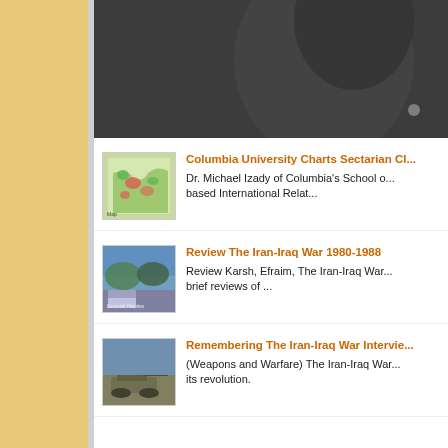[Figure (photo): Dark grayscale photo of a person, cropped at top of page]
Columbia University Charts Sectarian Cl... — Dr. Michael Izady of Columbia's School o... based International Relat...
Review The Iran-Iraq War 1980-1988 — Review Karsh, Efraim, The Iran-Iraq War... brief reviews of ...
Remembering The Iran-Iraq War Intervie... — (Weapons and Warfare) The Iran-Iraq War... its revolution.